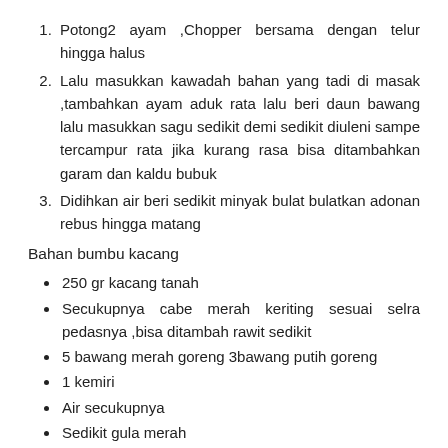Potong2 ayam ,Chopper bersama dengan telur hingga halus
Lalu masukkan kawadah bahan yang tadi di masak ,tambahkan ayam aduk rata lalu beri daun bawang lalu masukkan sagu sedikit demi sedikit diuleni sampe tercampur rata jika kurang rasa bisa ditambahkan garam dan kaldu bubuk
Didihkan air beri sedikit minyak bulat bulatkan adonan rebus hingga matang
Bahan bumbu kacang
250 gr kacang tanah
Secukupnya cabe merah keriting sesuai selra pedasnya ,bisa ditambah rawit sedikit
5 bawang merah goreng 3bawang putih goreng
1 kemiri
Air secukupnya
Sedikit gula merah